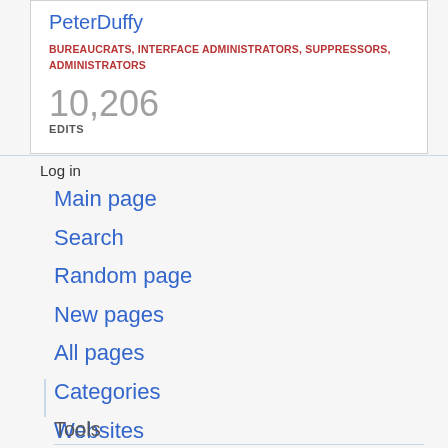PeterDuffy
BUREAUCRATS, INTERFACE ADMINISTRATORS, SUPPRESSORS, ADMINISTRATORS
10,206
EDITS
Log in
Main page
Search
Random page
New pages
All pages
Categories
Websites
Tools